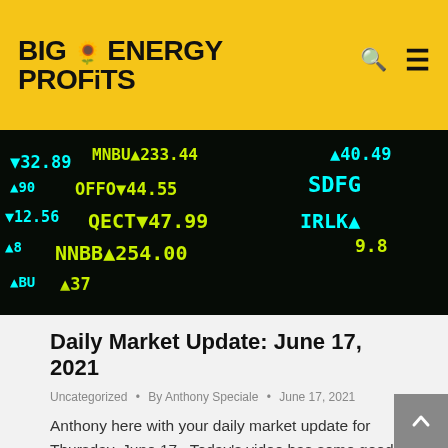BIG ENERGY PROFITS
[Figure (photo): Stock market ticker board showing green and yellow digital stock prices and ticker symbols on a black background, including symbols like MNBU, OFFO, QECT, NNBB, SDFG, IRLK with prices such as 233.44, 44.55, 47.99, 40.49, 9.8]
Daily Market Update: June 17, 2021
Uncategorized • By Anthony Speciale • June 17, 2021
Anthony here with your daily market update for Thursday, June 17.  Today's video has some good news about the EIA reports that came out yesterday as well as some Big Energy Profits